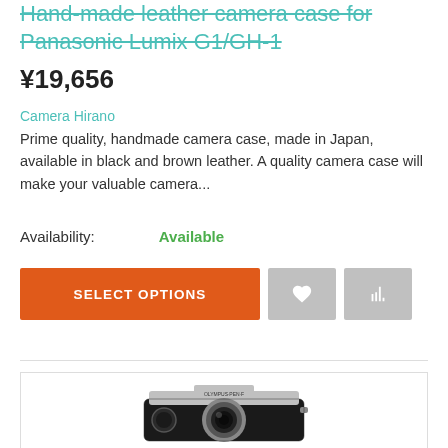Hand-made leather camera case for Panasonic Lumix G1/GH-1
¥19,656
Camera Hirano
Prime quality, handmade camera case, made in Japan, available in black and brown leather. A quality camera case will make your valuable camera...
Availability: Available
[Figure (screenshot): Orange 'SELECT OPTIONS' button and two grey icon buttons (heart and bar chart)]
[Figure (photo): A black leather camera case on an Olympus PEN camera, shown from the front against a white background inside a bordered box]